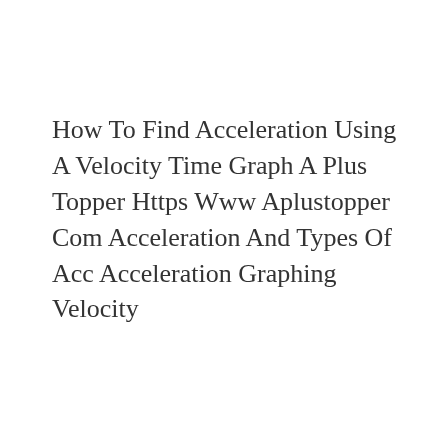How To Find Acceleration Using A Velocity Time Graph A Plus Topper Https Www Aplustopper Com Acceleration And Types Of Acc Acceleration Graphing Velocity